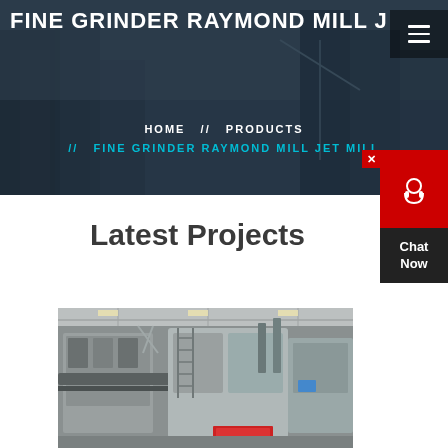FINE GRINDER RAYMOND MILL JET MILL
HOME // PRODUCTS // FINE GRINDER RAYMOND MILL JET MILL
Latest Projects
[Figure (photo): Industrial grinding/milling machine equipment in a factory setting, showing large mechanical equipment with metal structures and conveyor systems.]